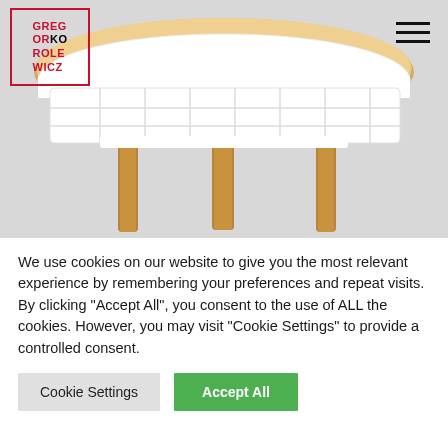[Figure (logo): Gregor Korolewicz logo in red and black text inside a red border rectangle]
[Figure (photo): A round wooden-top coffee table with white wire/grid basket frame and three wooden legs, photographed from above-side angle on light gray background]
We use cookies on our website to give you the most relevant experience by remembering your preferences and repeat visits. By clicking "Accept All", you consent to the use of ALL the cookies. However, you may visit "Cookie Settings" to provide a controlled consent.
Cookie Settings | Accept All